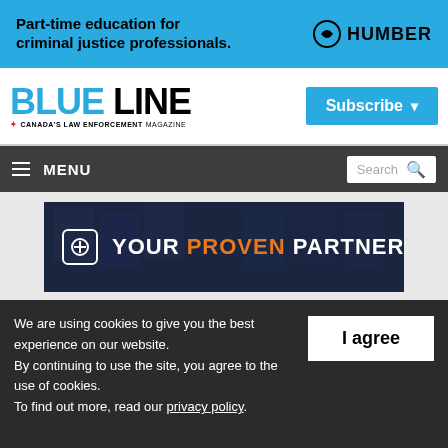[Figure (infographic): Humber College advertisement banner: 'Part-time education for criminal justice professionals.' with Humber logo on cyan/blue background]
[Figure (logo): Blue Line magazine logo - 'BLUE LINE' in large text with 'CANADA'S LAW ENFORCEMENT MAGAZINE' tagline, plus a 'Subscribe' button in blue]
[Figure (screenshot): Navigation bar with hamburger MENU icon on left and Search box on right, dark grey background]
[Figure (infographic): Advertisement banner: 'YOUR PROVEN PARTNER' with 'LEARN MORE' button on dark navy background with playing card imagery]
We are using cookies to give you the best experience on our website.
By continuing to use the site, you agree to the use of cookies.
To find out more, read our privacy policy.